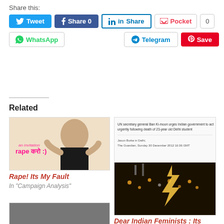Share this:
[Figure (screenshot): Social share buttons row: Tweet, Share 0 (Facebook), Share (LinkedIn), Pocket (0), WhatsApp, Telegram, Save (Pinterest)]
Related
[Figure (photo): Thumbnail image: woman covering ears, text overlay 'an invitation rape करो :)' -- related article thumbnail]
Rape! Its My Fault
In "Campaign Analysis"
[Figure (screenshot): Guardian article screenshot: UN secretary general Ban Ki-moon urges Indian government to act urgently following death of 23-year old Delhi student. Jason Burke in Delhi, The Guardian, Sunday 30 December 2012. Below: nighttime protest crowd with candles and lightning bolt sign. Related article thumbnail.]
Dear Indian Feminists : Its Time to Join Men's Rights
In "Men's Rights"
[Figure (photo): Thumbnail image at bottom left: partially visible protest photo]